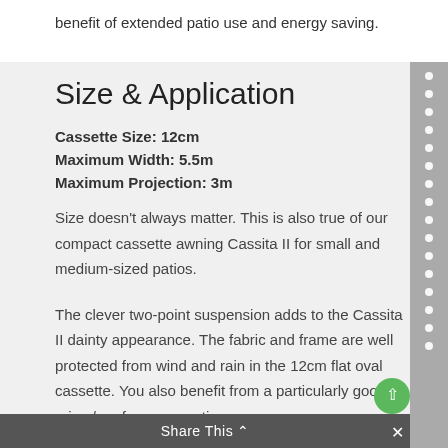benefit of extended patio use and energy saving.
Size & Application
Cassette Size: 12cm
Maximum Width: 5.5m
Maximum Projection: 3m
Size doesn't always matter. This is also true of our compact cassette awning Cassita II for small and medium-sized patios.
The clever two-point suspension adds to the Cassita II dainty appearance. The fabric and frame are well protected from wind and rain in the 12cm flat oval cassette. You also benefit from a particularly good price / performance ratio.
Our awning combining sophisticated technology with
Share This